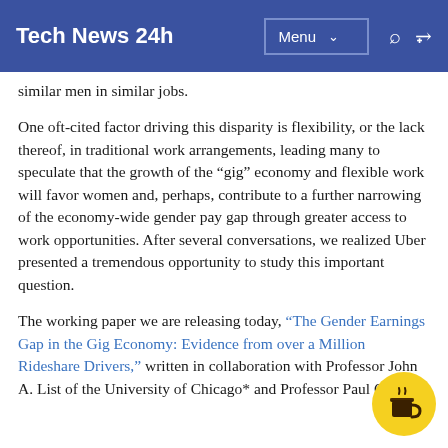Tech News 24h  Menu
similar men in similar jobs.
One oft-cited factor driving this disparity is flexibility, or the lack thereof, in traditional work arrangements, leading many to speculate that the growth of the “gig” economy and flexible work will favor women and, perhaps, contribute to a further narrowing of the economy-wide gender pay gap through greater access to work opportunities. After several conversations, we realized Uber presented a tremendous opportunity to study this important question.
The working paper we are releasing today, “The Gender Earnings Gap in the Gig Economy: Evidence from over a Million Rideshare Drivers,” written in collaboration with Professor John A. List of the University of Chicago* and Professor Paul Oyer of